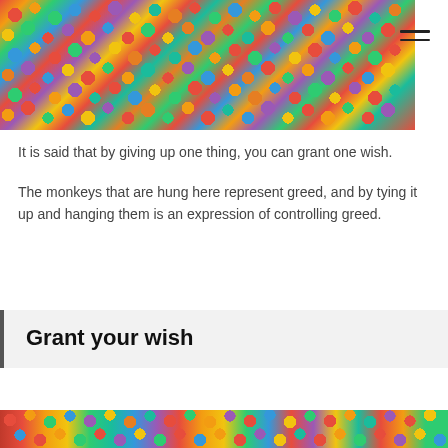[Figure (photo): Colorful pom-pom balls densely covering what appears to be a hanging installation or tree, with many vibrant colors including red, yellow, green, blue, pink, and teal]
It is said that by giving up one thing, you can grant one wish.
The monkeys that are hung here represent greed, and by tying it up and hanging them is an expression of controlling greed.
Grant your wish
[Figure (photo): Bottom portion of another image showing colorful balls or pom-poms in various bright colors]